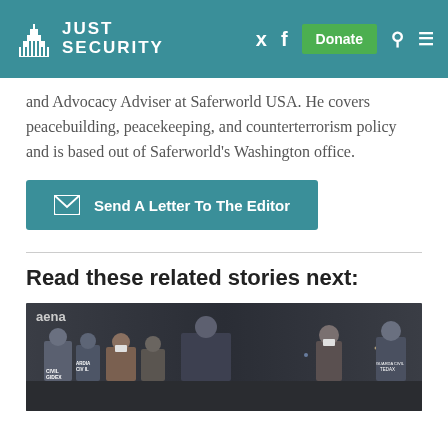Just Security
and Advocacy Adviser at Saferworld USA. He covers peacebuilding, peacekeeping, and counterterrorism policy and is based out of Saferworld's Washington office.
Send A Letter To The Editor
Read these related stories next:
[Figure (photo): Nighttime photo of people including those wearing masks on what appears to be an airport tarmac, with personnel in vests marked with official insignia.]